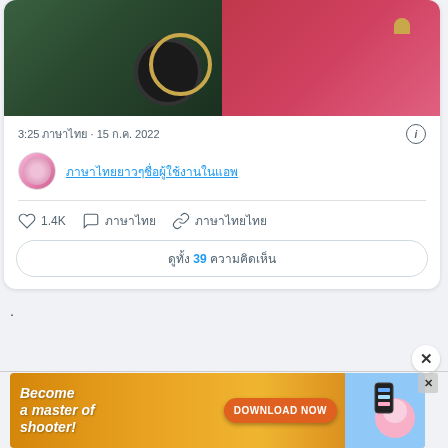[Figure (screenshot): Social media post showing two images side by side: left image shows a person in dark hat and teal skirt with gold ring, right image shows an anime/cartoon character in pink costume with gold heart decorations]
3:25 ภาษาไทย · 15 ก.ค. 2022
ภาษาไทยยาวๆชื่อผู้ใช้งานในแอพ
1.4K ภาษา ภาษาไทยไทย
ดูทั้ง 39 ความคิดเห็น
.
[Figure (screenshot): Advertisement banner: Become a master of shooter! with DOWNLOAD NOW button and game character imagery on orange/gold background]